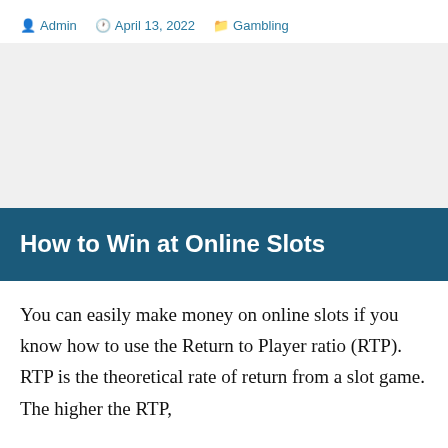By Admin  |  April 13, 2022  |  Gambling
How to Win at Online Slots
You can easily make money on online slots if you know how to use the Return to Player ratio (RTP). RTP is the theoretical rate of return from a slot game. The higher the RTP,